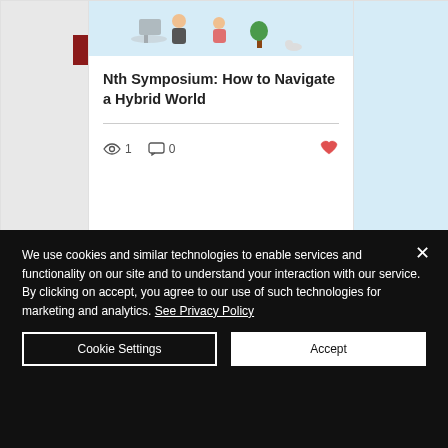[Figure (screenshot): Website card showing blog post titled 'Nth Symposium: How to Navigate a Hybrid World' with an illustration of people working, view count 1, comment count 0, and a heart/like icon. Navigation dots below. Partial cards visible on left and right.]
Nth Symposium: How to Navigate a Hybrid World
We use cookies and similar technologies to enable services and functionality on our site and to understand your interaction with our service. By clicking on accept, you agree to our use of such technologies for marketing and analytics. See Privacy Policy
Cookie Settings
Accept